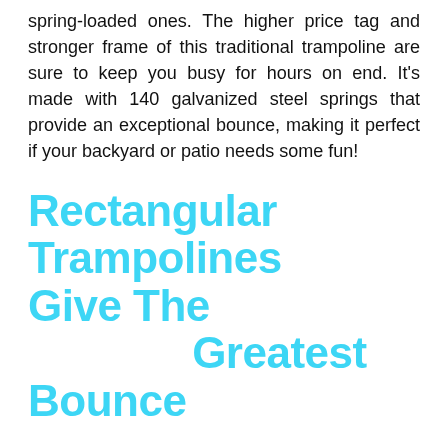spring-loaded ones. The higher price tag and stronger frame of this traditional trampoline are sure to keep you busy for hours on end. It's made with 140 galvanized steel springs that provide an exceptional bounce, making it perfect if your backyard or patio needs some fun!
Rectangular Trampolines Give The Greatest Bounce
The bounce on a rectangular trampoline will be higher than that of other types